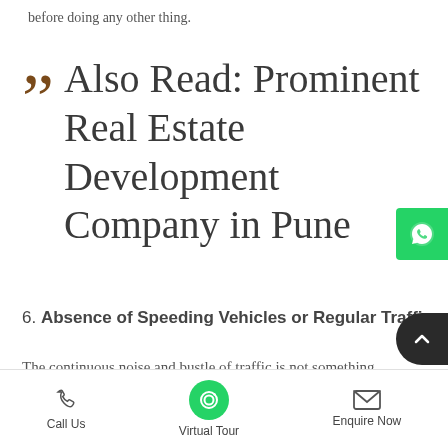before doing any other thing.
Also Read: Prominent Real Estate Development Company in Pune
6. Absence of Speeding Vehicles or Regular Traffic
The continuous noise and bustle of traffic is not something you will require worrying about if you stay in a gated
Call Us   Virtual Tour   Enquire Now